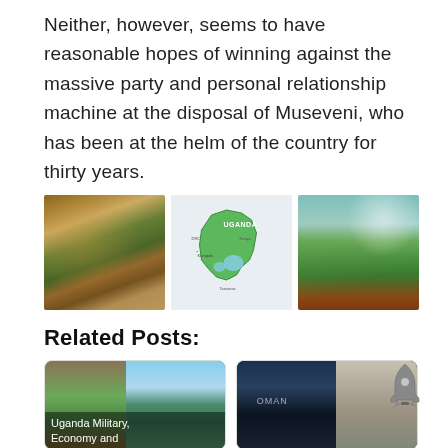Neither, however, seems to have reasonable hopes of winning against the massive party and personal relationship machine at the disposal of Museveni, who has been at the helm of the country for thirty years.
[Figure (photo): Three images in a row: left shows a woman with children outside a thatched-roof hut (village scene in Africa); center shows a green map of Uganda with surrounding countries; right shows a green hilly landscape with mountains in background.]
Related Posts:
[Figure (photo): Two related post cards: left card shows Uganda military/landscape scene with caption 'Uganda Military, Economy and'; right card shows a dark ocean/sea map (Oman) with a soldier standing.]